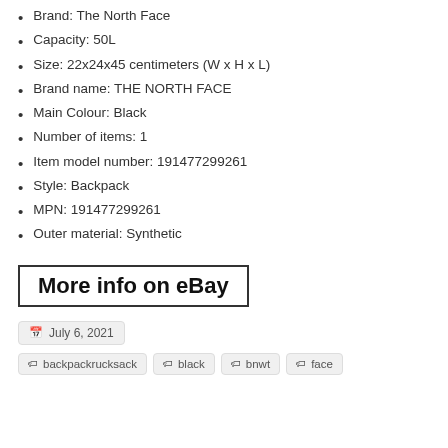Brand: The North Face
Capacity: 50L
Size: 22x24x45 centimeters (W x H x L)
Brand name: THE NORTH FACE
Main Colour: Black
Number of items: 1
Item model number: 191477299261
Style: Backpack
MPN: 191477299261
Outer material: Synthetic
More info on eBay
July 6, 2021
backpackrucksack  black  bnwt  face